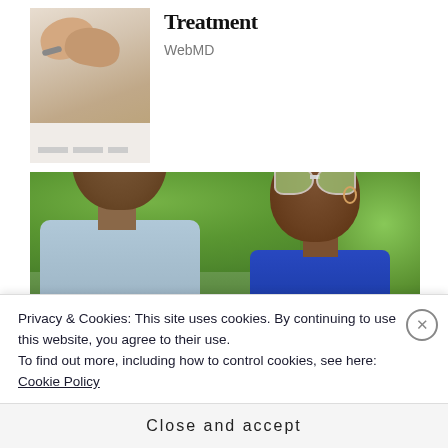[Figure (photo): Thumbnail photo of hands holding a pen over paper, with a bracelet visible]
Treatment
WebMD
[Figure (photo): Photo of two people wearing sunglasses outdoors with lush green foliage in the background]
Privacy & Cookies: This site uses cookies. By continuing to use this website, you agree to their use.
To find out more, including how to control cookies, see here:
Cookie Policy
Close and accept